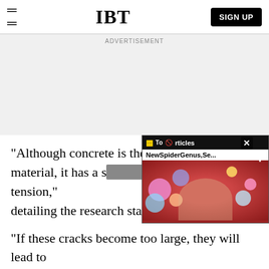IBT | SIGN UP
Advertisement
"Although concrete is the w building material, it has a s crack when under tension," detailing the research stated
[Figure (screenshot): Video widget overlay showing IBT Top Articles panel with 'NewSpiderGenus,Se...' title and a colorful artistic image background]
"If these cracks become too large, they will lead to